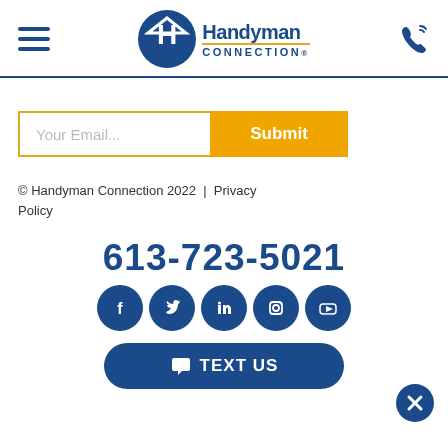[Figure (logo): Handyman Connection logo with hamburger menu and phone icon in header]
[Figure (screenshot): Email input field with 'Your Email...' placeholder and orange Submit button]
© Handyman Connection 2022  |  Privacy Policy
613-723-5021
[Figure (illustration): Social media icons: Facebook, Twitter, LinkedIn, Instagram, YouTube in blue circles]
[Figure (screenshot): TEXT US button in dark blue rounded rectangle]
[Figure (illustration): Close (X) button in dark blue circle, bottom right]